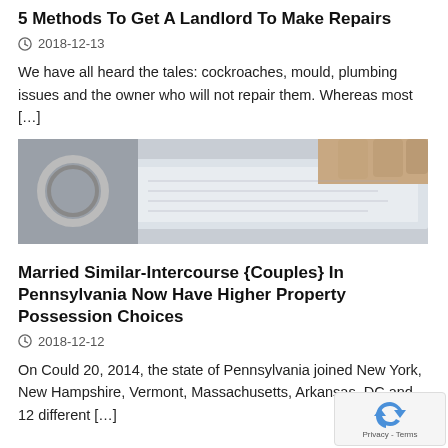5 Methods To Get A Landlord To Make Repairs
2018-12-13
We have all heard the tales: cockroaches, mould, plumbing issues and the owner who will not repair them. Whereas most […]
[Figure (photo): Close-up photo of hands holding keys and a document or form, suggesting a real estate or rental transaction.]
Married Similar-Intercourse {Couples} In Pennsylvania Now Have Higher Property Possession Choices
2018-12-12
On Could 20, 2014, the state of Pennsylvania joined New York, New Hampshire, Vermont, Massachusetts, Arkansas, DC and 12 different […]